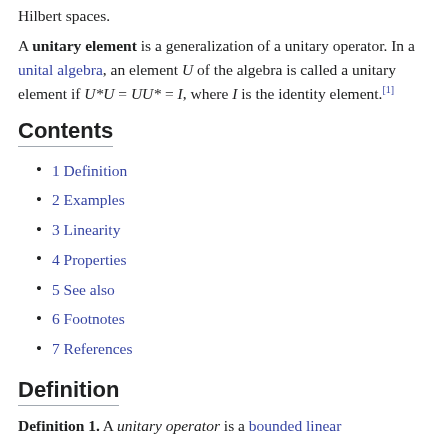Hilbert spaces.
A unitary element is a generalization of a unitary operator. In a unital algebra, an element U of the algebra is called a unitary element if U*U = UU* = I, where I is the identity element.[1]
Contents
1 Definition
2 Examples
3 Linearity
4 Properties
5 See also
6 Footnotes
7 References
Definition
Definition 1. A unitary operator is a bounded linear